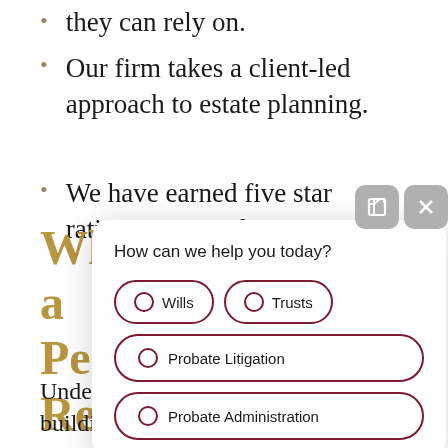they can rely on.
Our firm takes a client-led approach to estate planning.
We have earned five star ratings on Google.
What to Expect as a Personal Representative in Arvada
Under Colorado law, when someone is building their will, or anywhere across the state, they will need
[Figure (screenshot): Chat popup overlay with question 'How can we help you today?' and options: Wills, Trusts, Probate Litigation, Probate Administration]